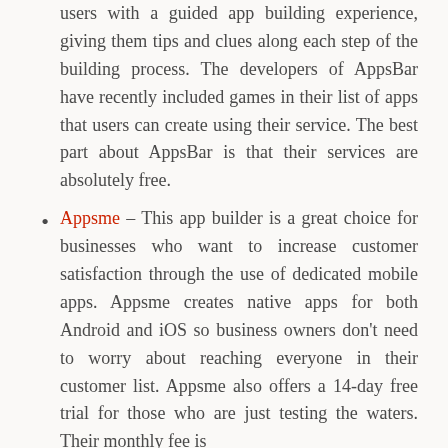users with a guided app building experience, giving them tips and clues along each step of the building process. The developers of AppsBar have recently included games in their list of apps that users can create using their service. The best part about AppsBar is that their services are absolutely free.
Appsme – This app builder is a great choice for businesses who want to increase customer satisfaction through the use of dedicated mobile apps. Appsme creates native apps for both Android and iOS so business owners don't need to worry about reaching everyone in their customer list. Appsme also offers a 14-day free trial for those who are just testing the waters. Their monthly fee is